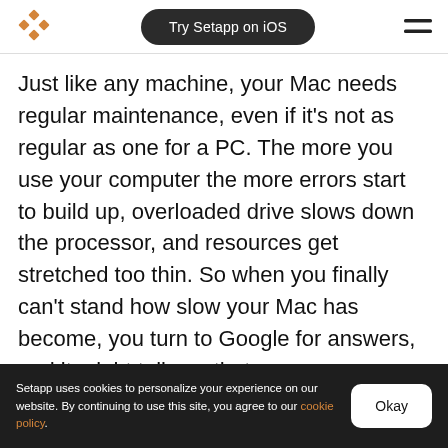Try Setapp on iOS
Just like any machine, your Mac needs regular maintenance, even if it's not as regular as one for a PC. The more you use your computer the more errors start to build up, overloaded drive slows down the processor, and resources get stretched too thin. So when you finally can't stand how slow your Mac has become, you turn to Google for answers, and it might tell you that
Setapp uses cookies to personalize your experience on our website. By continuing to use this site, you agree to our cookie policy.